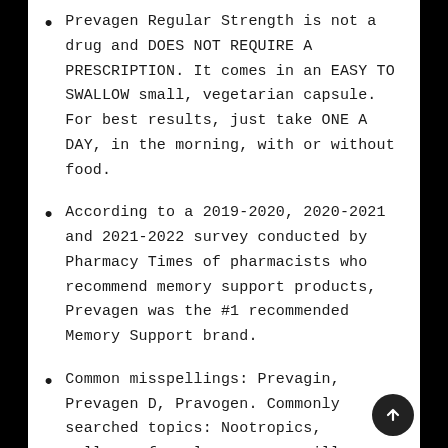Prevagen Regular Strength is not a drug and DOES NOT REQUIRE A PRESCRIPTION. It comes in an EASY TO SWALLOW small, vegetarian capsule. For best results, just take ONE A DAY, in the morning, with or without food.
According to a 2019-2020, 2020-2021 and 2021-2022 survey conducted by Pharmacy Times of pharmacists who recommend memory support products, Prevagen was the #1 recommended Memory Support brand.
Common misspellings: Prevagin, Prevagen D, Pravogen. Commonly searched topics: Nootropics, wellness formulas, memory pills, brain vitamins.